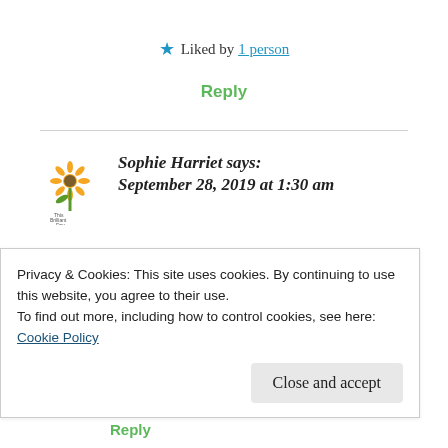★ Liked by 1 person
Reply
Sophie Harriet says:
September 28, 2019 at 1:30 am
I'd never heard of this movie, but it sounds like it is really entertaining, plus teaches us a few things
Privacy & Cookies: This site uses cookies. By continuing to use this website, you agree to their use.
To find out more, including how to control cookies, see here: Cookie Policy
Close and accept
Reply